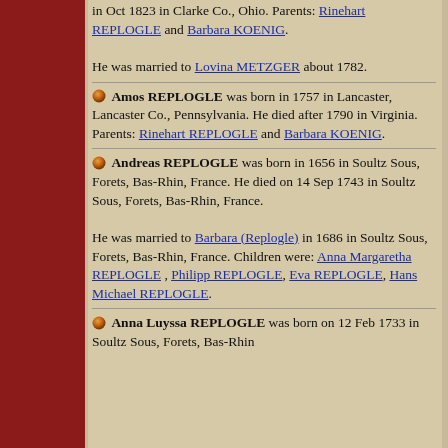in Oct 1823 in Clarke Co., Ohio. Parents: Rinehart REPLOGLE and Barbara KOENIG.
He was married to Lovina METZGER about 1782.
Amos REPLOGLE was born in 1757 in Lancaster, Lancaster Co., Pennsylvania. He died after 1790 in Virginia. Parents: Rinehart REPLOGLE and Barbara KOENIG.
Andreas REPLOGLE was born in 1656 in Soultz Sous, Forets, Bas-Rhin, France. He died on 14 Sep 1743 in Soultz Sous, Forets, Bas-Rhin, France.
He was married to Barbara (Replogle) in 1686 in Soultz Sous, Forets, Bas-Rhin, France. Children were: Anna Margaretha REPLOGLE, Philipp REPLOGLE, Eva REPLOGLE, Hans Michael REPLOGLE.
Anna Luyssa REPLOGLE was born on 12 Feb 1733 in Soultz Sous, Forets, Bas-Rhin.